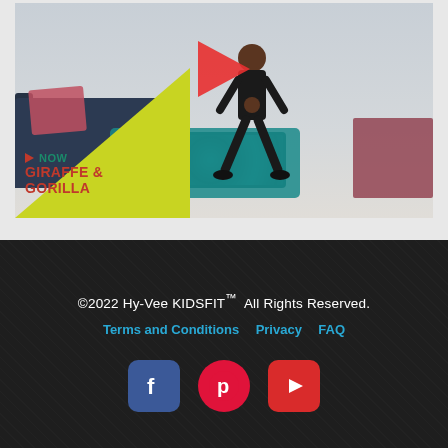[Figure (screenshot): Video thumbnail showing a fitness instructor doing exercises in a living room. A large red play button is overlaid in the center. Bottom-left has a yellow triangle overlay with text 'NOW GIRAFFE & GORILLA' in red and teal colors.]
©2022 Hy-Vee KIDSFIT™ All Rights Reserved. Terms and Conditions  Privacy  FAQ
[Figure (other): Social media icons: Facebook (blue square with F), Pinterest (red circle with P), YouTube (red rounded square with play triangle)]